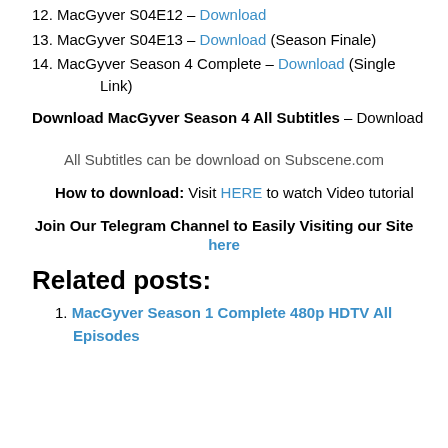12. MacGyver S04E12 – Download
13. MacGyver S04E13 – Download (Season Finale)
14. MacGyver Season 4 Complete – Download (Single Link)
Download MacGyver Season 4 All Subtitles – Download
All Subtitles can be download on Subscene.com
How to download: Visit HERE to watch Video tutorial
Join Our Telegram Channel to Easily Visiting our Site here
Related posts:
MacGyver Season 1 Complete 480p HDTV All Episodes